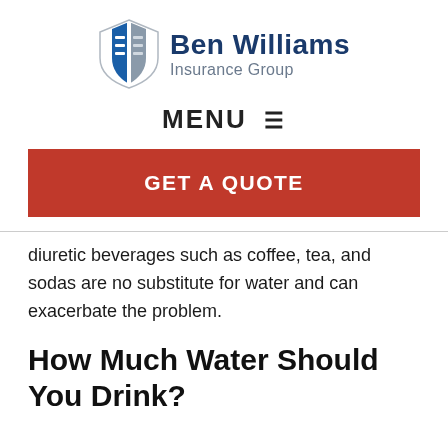[Figure (logo): Ben Williams Insurance Group logo with shield icon and blue text]
MENU ≡
GET A QUOTE
diuretic beverages such as coffee, tea, and sodas are no substitute for water and can exacerbate the problem.
How Much Water Should You Drink?